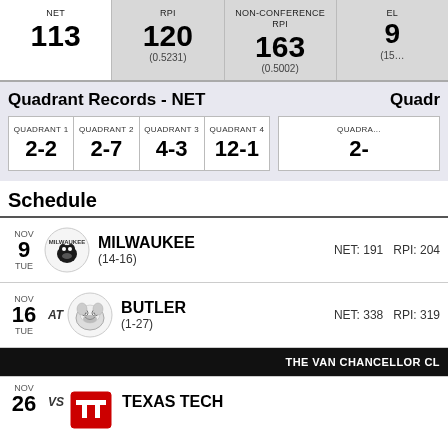| NET | RPI | NON-CONFERENCE RPI | EL... |
| --- | --- | --- | --- |
| 113 | 120
(0.5231) | 163
(0.5002) | 9...
(15... |
Quadrant Records - NET
| QUADRANT 1 | QUADRANT 2 | QUADRANT 3 | QUADRANT 4 |
| --- | --- | --- | --- |
| 2-2 | 2-7 | 4-3 | 12-1 |
Schedule
NOV 9 TUE | MILWAUKEE (14-16) NET: 191 RPI: 204
NOV 16 TUE AT | BUTLER (1-27) NET: 338 RPI: 319
THE VAN CHANCELLOR CL...
NOV 26 VS | TEXAS TECH